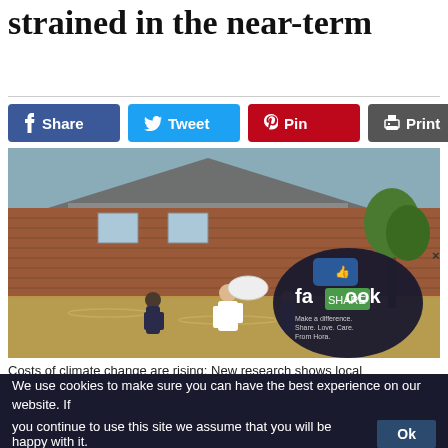strained in the near-term
[Figure (photo): Social media sharing buttons: Share (Facebook, blue), Tweet (Twitter, cyan), Pin (Pinterest, red), Print (gray)]
[Figure (photo): Flood scene showing people wading through floodwater outside a brick house, carrying belongings. A Facebook overlay widget appears in the bottom-right corner.]
Costs of climate change are rising: New research shows local communities could be strained in the near-term
Much of the existing research on climate change focuses on end-of-century projections across m
We use cookies to make sure you can have the best experience on our website. If you continue to use this site we assume that you will be happy with it.